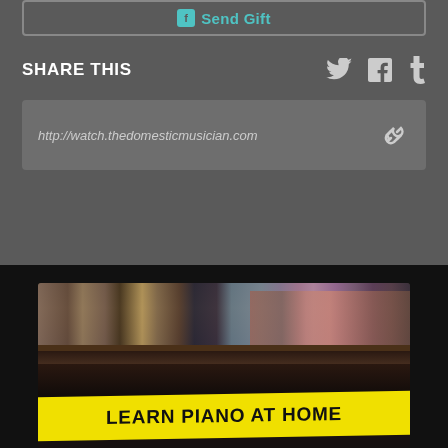Send Gift
SHARE THIS
http://watch.thedomesticmusician.com
[Figure (photo): Promotional image for 'Learn Piano at Home' course showing cluttered closet with clothes and shoes, overlaid with a yellow banner reading 'LEARN PIANO AT HOME']